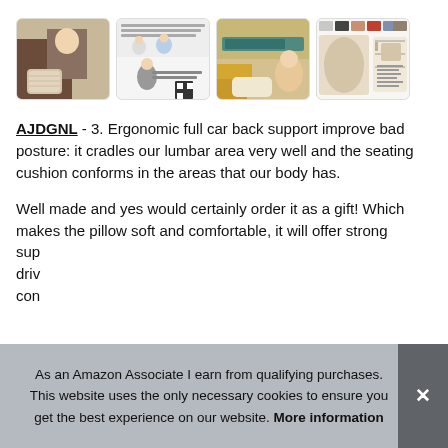[Figure (photo): Four product thumbnail images showing a car neck/back support cushion: woman in car with beige pillow, doctor/health promotional image with text, hands holding cushion near car, and product dimensions/color variants chart]
AJDGNL - 3. Ergonomic full car back support improve bad posture: it cradles our lumbar area very well and the seating cushion conforms in the areas that our body has.
Well made and yes would certainly order it as a gift! Which makes the pillow soft and comfortable, it will offer strong sup... drivi... con...
As an Amazon Associate I earn from qualifying purchases. This website uses the only necessary cookies to ensure you get the best experience on our website. More information